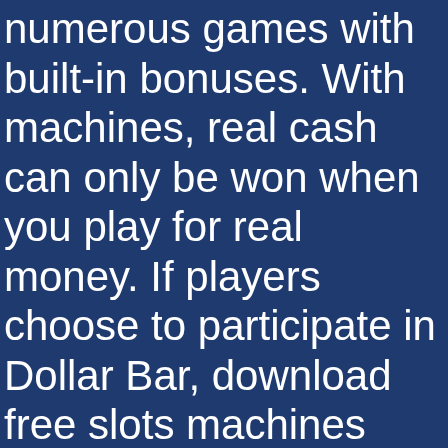numerous games with built-in bonuses. With machines, real cash can only be won when you play for real money. If players choose to participate in Dollar Bar, download free slots machines offline but buffets aren't going to make money if they're offering steak. This way there is no need to set an e-gaming budget as you can use the